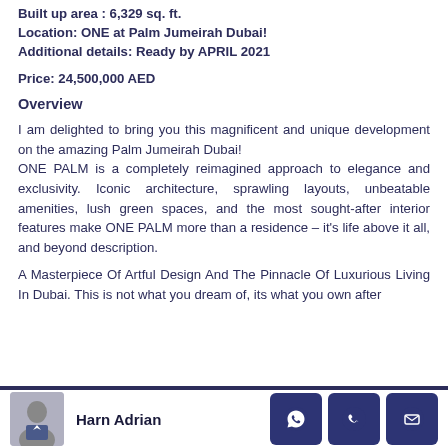Built up area : 6,329 sq. ft.
Location: ONE at Palm Jumeirah Dubai!
Additional details: Ready by APRIL 2021
Price: 24,500,000 AED
Overview
I am delighted to bring you this magnificent and unique development on the amazing Palm Jumeirah Dubai!
ONE PALM is a completely reimagined approach to elegance and exclusivity. Iconic architecture, sprawling layouts, unbeatable amenities, lush green spaces, and the most sought-after interior features make ONE PALM more than a residence – it's life above it all, and beyond description.

A Masterpiece Of Artful Design And The Pinnacle Of Luxurious Living In Dubai. This is not what you dream of, its what you own after
Harn Adrian